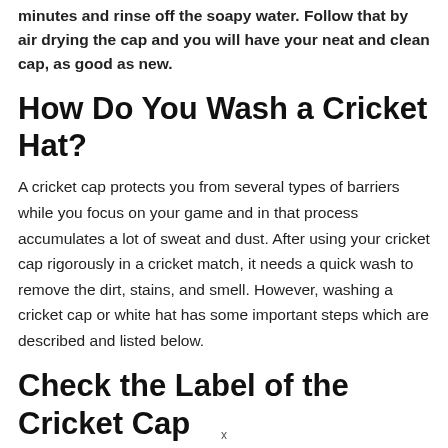minutes and rinse off the soapy water. Follow that by air drying the cap and you will have your neat and clean cap, as good as new.
How Do You Wash a Cricket Hat?
A cricket cap protects you from several types of barriers while you focus on your game and in that process accumulates a lot of sweat and dust. After using your cricket cap rigorously in a cricket match, it needs a quick wash to remove the dirt, stains, and smell. However, washing a cricket cap or white hat has some important steps which are described and listed below.
Check the Label of the Cricket Cap
Always check the label of the cricket cap before putting it down for washing as different materials require different washing methods.
x